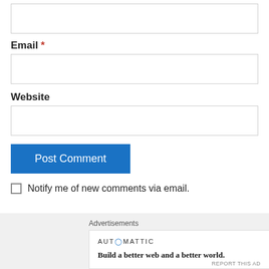[Figure (screenshot): Empty text input field at top of page]
Email *
[Figure (screenshot): Empty email input field]
Website
[Figure (screenshot): Empty website input field]
Post Comment
Notify me of new comments via email.
Advertisements
AUTOMATTIC
Build a better web and a better world.
REPORT THIS AD